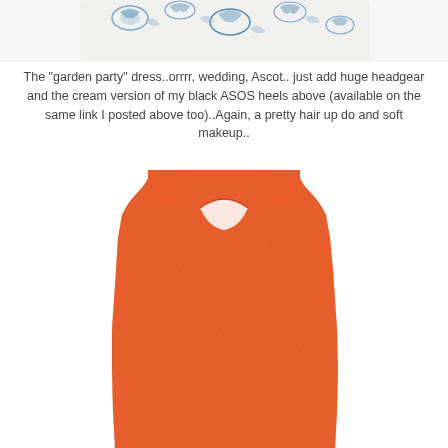[Figure (photo): Top portion of a white dress with blue floral pattern, cropped at top of page]
The "garden party" dress..orrrr, wedding, Ascot.. just add huge headgear and the cream version of my black ASOS heels above (available on the same link I posted above too)..Again, a pretty hair up do and soft makeup..
[Figure (photo): Orange/coral textured sleeveless dress shown from the back, with a decorative cutout detail at the upper back/neckline area]